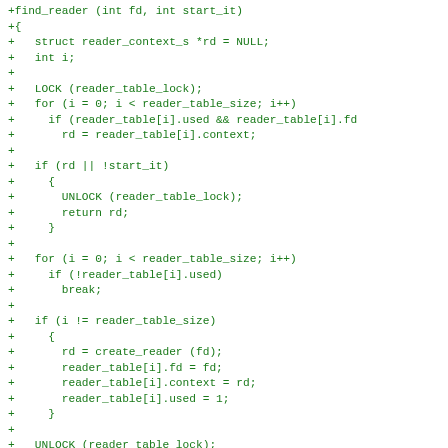+find_reader (int fd, int start_it)
+{
+   struct reader_context_s *rd = NULL;
+   int i;
+
+   LOCK (reader_table_lock);
+   for (i = 0; i < reader_table_size; i++)
+     if (reader_table[i].used && reader_table[i].fd
+       rd = reader_table[i].context;
+
+   if (rd || !start_it)
+     {
+       UNLOCK (reader_table_lock);
+       return rd;
+     }
+
+   for (i = 0; i < reader_table_size; i++)
+     if (!reader_table[i].used)
+       break;
+
+   if (i != reader_table_size)
+     {
+       rd = create_reader (fd);
+       reader_table[i].fd = fd;
+       reader_table[i].context = rd;
+       reader_table[i].used = 1;
+     }
+
+   UNLOCK (reader_table_lock);
+   return rd;
+}